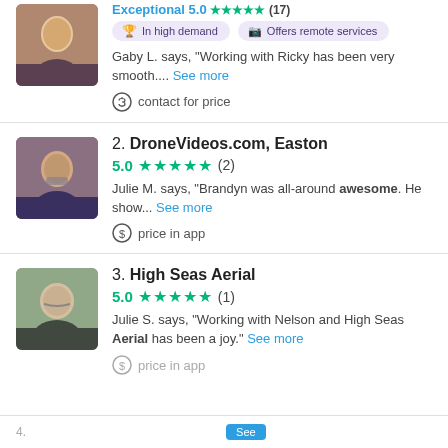Exceptional 5.0 ★★★★★ (17)
In high demand
Offers remote services
Gaby L. says, "Working with Ricky has been very smooth.... See more"
contact for price
2. DroneVideos.com, Easton
5.0 ★★★★★ (2)
Julie M. says, "Brandyn was all-around awesome. He show... See more"
price in app
3. High Seas Aerial
5.0 ★★★★★ (1)
Julie S. says, "Working with Nelson and High Seas Aerial has been a joy." See more
price in app